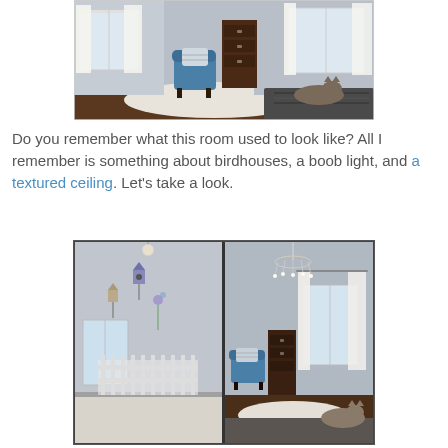[Figure (photo): Interior bedroom photo showing a teal/blue accent chair with a striped pillow on a white rug, white curtains on windows, a dark wood dresser, and a cat on a dark patterned rug in the foreground. Light and airy blue-grey room.]
Do you remember what this room used to look like? All I remember is something about birdhouses, a boob light, and a textured ceiling. Let's take a look.
[Figure (photo): Side-by-side before and after photos of a bedroom. Left (before): empty room with carpet, white picket fence mural, birdhouse decorations on walls, window. Right (after): same room redecorated with blue-grey paint, crystal chandelier, white curtains, teal accent chair, dark wood dresser, white rug, cat on dark bedspread.]